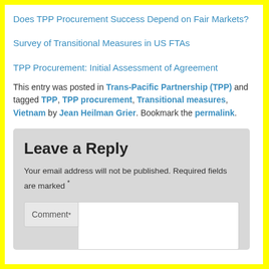Does TPP Procurement Success Depend on Fair Markets?
Survey of Transitional Measures in US FTAs
TPP Procurement: Initial Assessment of Agreement
This entry was posted in Trans-Pacific Partnership (TPP) and tagged TPP, TPP procurement, Transitional measures, Vietnam by Jean Heilman Grier. Bookmark the permalink.
Leave a Reply
Your email address will not be published. Required fields are marked *
Comment *